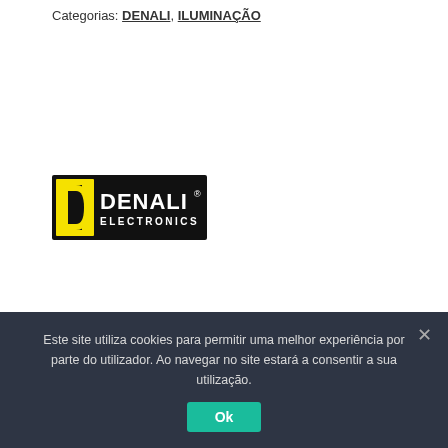Categorias: DENALI, ILUMINAÇÃO
[Figure (logo): Denali Electronics logo — yellow square 'D' icon on black background, with 'DENALI' in large bold white text and 'ELECTRONICS' in smaller white text below, on black background with yellow accent.]
| Descrição | Avaliações (0) |  |
| --- | --- | --- |
Este site utiliza cookies para permitir uma melhor experiência por parte do utilizador. Ao navegar no site estará a consentir a sua utilização.